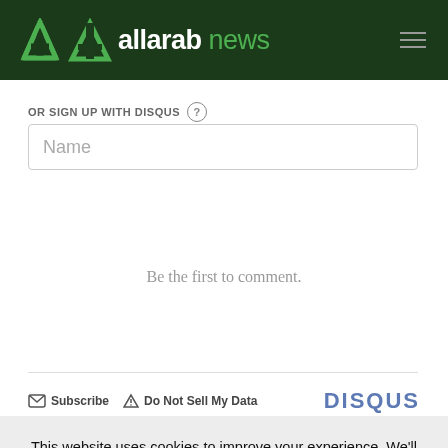[Figure (logo): Allarab News logo with green triangle icon on dark green header bar with hamburger menu icon]
OR SIGN UP WITH DISQUS
Name
Be the first to comment.
Subscribe   Do Not Sell My Data   DISQUS
This website uses cookies to improve your experience. We'll assume you're ok with this, but you can opt-out if you wish.
Cookie settings   ACCEPT